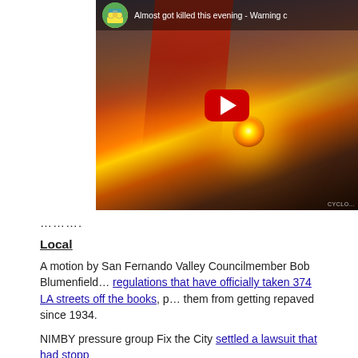[Figure (screenshot): YouTube video thumbnail showing a cycling video titled 'Almost got killed this evening - Warning c...' with a dramatic sunset/road scene, red overlay, and a YouTube play button. Channel icon visible top-left.]
.........
Local
A motion by San Fernando Valley Councilmember Bob Blumenfield... regulations that have officially taken 374 LA streets off the books, p... them from getting repaved since 1934.
NIMBY pressure group Fix the City settled a lawsuit that had stopp...